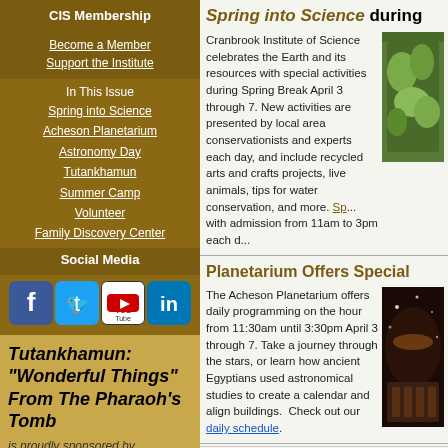CIS Membership
Become a Member
Support the Institute
In This Issue
Spring into Science
Acheson Planetarium
Astronomy Day
Tutankhamun
Summer Camp
Volunteer
Family Discovery Center
Social Media
[Figure (other): Social media icons: Facebook, Twitter, YouTube, LinkedIn]
Tutankhamun: "Wonderful Things" From The Pharaoh's Tomb
is proudly sponsored by
[Figure (logo): PNC Bank logo]
Spring into Science during
Cranbrook Institute of Science celebrates the Earth and its resources with special activities during Spring Break April 3 through 7. New activities are presented by local area conservationists and experts each day, and include recycled arts and crafts projects, live animals, tips for water conservation, and more. Sp... with admission from 11am to 3pm each d...
[Figure (photo): Nature/outdoor photo showing green foliage]
Planetarium Offers Special
The Acheson Planetarium offers daily programming on the hour from 11:30am until 3:30pm April 3 through 7. Take a journey through the stars, or learn how ancient Egyptians used astronomical studies to create a calendar and align buildings. Check out our daily schedule.
[Figure (photo): Planetarium interior with seats and projection dome]
Astronomy Day is Outta Sig...
Journey through the universe